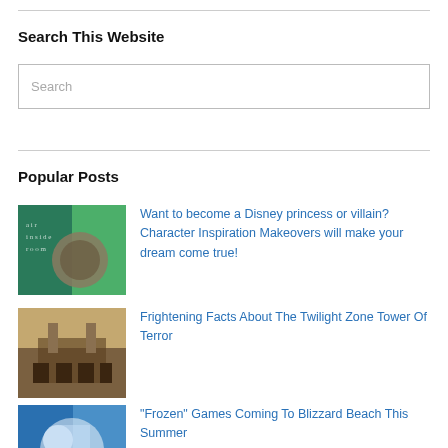Search This Website
Search
Popular Posts
Want to become a Disney princess or villain? Character Inspiration Makeovers will make your dream come true!
Frightening Facts About The Twilight Zone Tower Of Terror
"Frozen" Games Coming To Blizzard Beach This Summer